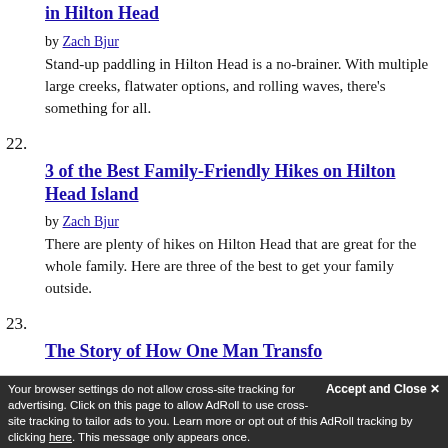in Hilton Head (title continuation link)
by Zach Bjur
Stand-up paddling in Hilton Head is a no-brainer. With multiple large creeks, flatwater options, and rolling waves, there's something for all.
22.
3 of the Best Family-Friendly Hikes on Hilton Head Island
by Zach Bjur
There are plenty of hikes on Hilton Head that are great for the whole family. Here are three of the best to get your family outside.
23.
The Story of How One Man Transfo...
Accept and Close ✕
Your browser settings do not allow cross-site tracking for advertising. Click on this page to allow AdRoll to use cross-site tracking to tailor ads to you. Learn more or opt out of this AdRoll tracking by clicking here. This message only appears once.